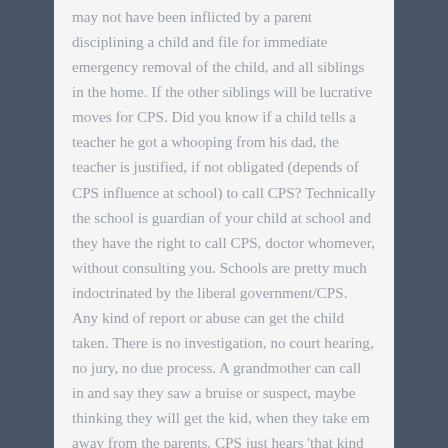may not have been inflicted by a parent disciplining a child and file for immediate emergency removal of the child, and all siblings in the home. If the other siblings will be lucrative moves for CPS. Did you know if a child tells a teacher he got a whooping from his dad, the teacher is justified, if not obligated (depends of CPS influence at school) to call CPS? Technically the school is guardian of your child at school and they have the right to call CPS, doctor whomever, without consulting you. Schools are pretty much indoctrinated by the liberal government/CPS. Any kind of report or abuse can get the child taken. There is no investigation, no court hearing, no jury, no due process. A grandmother can call in and say they saw a bruise or suspect, maybe thinking they will get the kid, when they take em away from the parents. CPS just hears 'that kind of people' and now have a source for a bonus. If the child is school